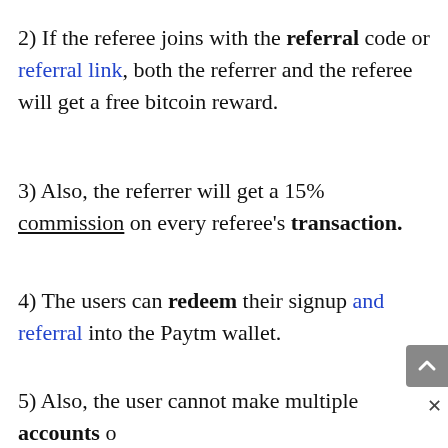2) If the referee joins with the referral code or referral link, both the referrer and the referee will get a free bitcoin reward.
3) Also, the referrer will get a 15% commission on every referee’s transaction.
4) The users can redeem their signup and referral into the Paytm wallet.
5) Also, the user cannot make multiple accounts o